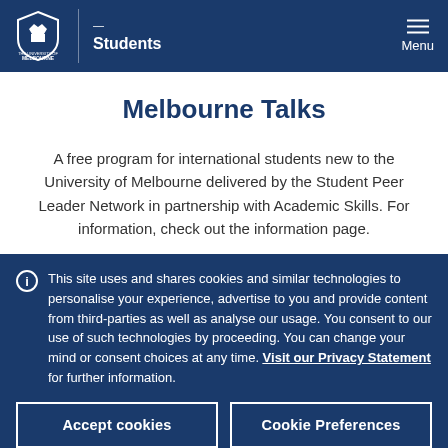Students | Menu
Melbourne Talks
A free program for international students new to the University of Melbourne delivered by the Student Peer Leader Network in partnership with Academic Skills. For information, check out the information page.
This site uses and shares cookies and similar technologies to personalise your experience, advertise to you and provide content from third-parties as well as analyse our usage. You consent to our use of such technologies by proceeding. You can change your mind or consent choices at any time. Visit our Privacy Statement for further information.
Accept cookies
Cookie Preferences